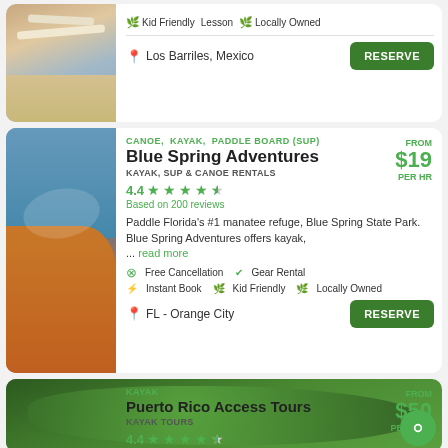[Figure (photo): Partial view of a paddleboard/SUP rental listing with person on beach with boards]
Kid Friendly  Lesson  Locally Owned
Los Barriles, Mexico
RESERVE
[Figure (photo): Person kayaking in orange kayak on blue water with red life vest]
CANOE,  KAYAK,  PADDLE BOARD (SUP)
FROM $19 PER HR
Blue Spring Adventures
KAYAK, SUP & CANOE RENTALS
4.4 — Based on 200 reviews
Paddle Florida's #1 manatee refuge, Blue Spring State Park. Blue Spring Adventures offers kayak, ... read more
Free Cancellation  Gear Rental
Instant Book  Kid Friendly  Locally Owned
FL - Orange City
RESERVE
[Figure (photo): Green mangrove trees for Puerto Rico Access Tours listing]
KAYAK
FROM $50 PER 2 HR
Puerto Rico Access Tours
KAYAK TOURS
4.4 — Based on 166 reviews